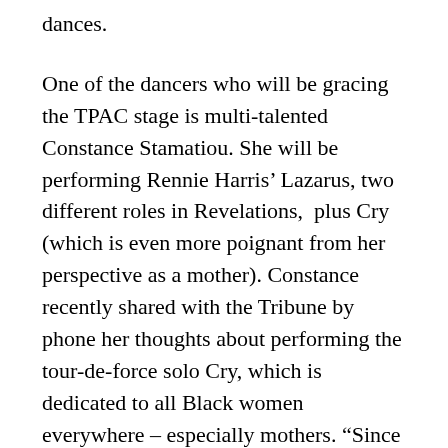dances.
One of the dancers who will be gracing the TPAC stage is multi-talented Constance Stamatiou. She will be performing Rennie Harris’ Lazarus, two different roles in Revelations,  plus Cry (which is even more poignant from her perspective as a mother). Constance recently shared with the Tribune by phone her thoughts about performing the tour-de-force solo Cry, which is dedicated to all Black women everywhere – especially mothers. “Since I’m now a mom of two, performing this piece just means a lot to me,” she said. “There’s just so many emotions that come with that title. It makes me feel quite emotional. I feel like I didn’t really know what true love was until I had my kids. Performing this dance, you have to be vulnerable, and